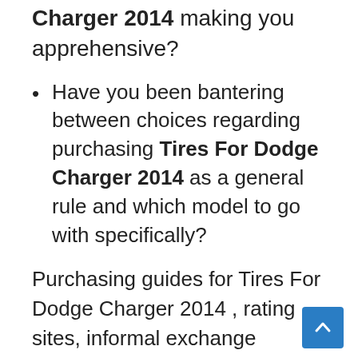Charger 2014 making you apprehensive?
Have you been bantering between choices regarding purchasing Tires For Dodge Charger 2014 as a general rule and which model to go with specifically?
Purchasing guides for Tires For Dodge Charger 2014 , rating sites, informal exchange tributes, web discussions, and item surveys are potential sources. To guarantee that you get your hands on the